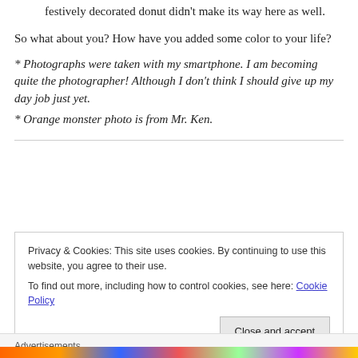festively decorated donut didn't make its way here as well.
So what about you? How have you added some color to your life?
* Photographs were taken with my smartphone. I am becoming quite the photographer! Although I don't think I should give up my day job just yet.
* Orange monster photo is from Mr. Ken.
Privacy & Cookies: This site uses cookies. By continuing to use this website, you agree to their use.
To find out more, including how to control cookies, see here: Cookie Policy
Close and accept
Advertisements